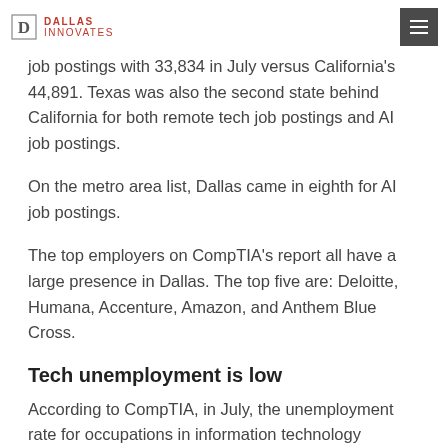Dallas Innovates
job postings with 33,834 in July versus California's 44,891. Texas was also the second state behind California for both remote tech job postings and AI job postings.
On the metro area list, Dallas came in eighth for AI job postings.
The top employers on CompTIA's report all have a large presence in Dallas. The top five are: Deloitte, Humana, Accenture, Amazon, and Anthem Blue Cross.
Tech unemployment is low
According to CompTIA, in July, the unemployment rate for occupations in information technology reached a